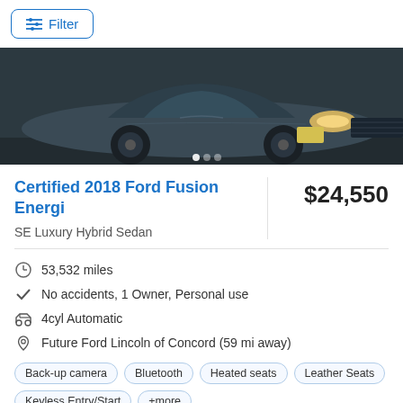[Figure (other): Filter button with sliders icon at top left, styled as a rounded rectangle with blue border and blue text]
[Figure (photo): Photo of a dark blue/grey 2018 Ford Fusion Energi, front and side view, taken in a dealership or parking lot]
Certified 2018 Ford Fusion Energi
$24,550
SE Luxury Hybrid Sedan
53,532 miles
No accidents, 1 Owner, Personal use
4cyl Automatic
Future Ford Lincoln of Concord (59 mi away)
Back-up camera  Bluetooth  Heated seats  Leather Seats  Keyless Entry/Start  +more